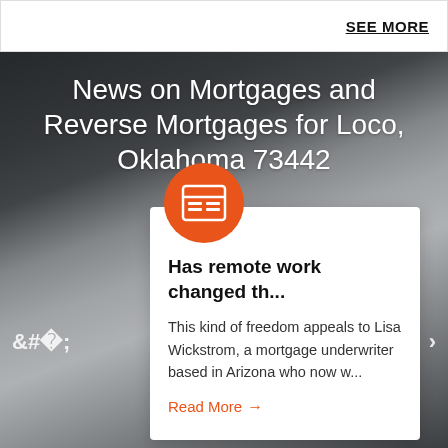SEE MORE
News on Mortgages and Reverse Mortgages for Loco, Oklahoma 73442
[Figure (illustration): Orange circle icon with newspaper/document symbol]
Has remote work changed th...
This kind of freedom appeals to Lisa Wickstrom, a mortgage underwriter based in Arizona who now w...
Read More →